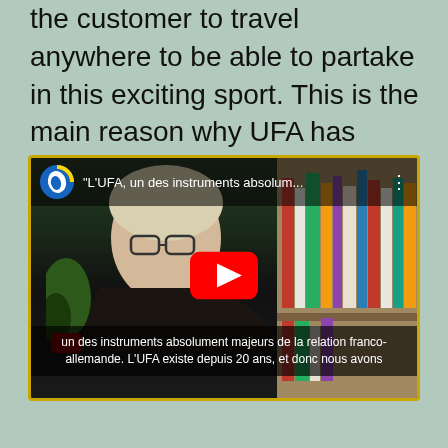the customer to travel anywhere to be able to partake in this exciting sport. This is the main reason why UFA has gained such a large customer base in recent years.
[Figure (screenshot): YouTube video thumbnail showing a woman being interviewed, with subtitle text reading 'un des instruments absolument majeurs de la relation franco-allemande. L'UFA existe depuis 20 ans, et donc nous avons'. The video title bar shows "L'UFA, un des instruments absolum..." with a YouTube logo in the top-left corner and a red play button in the center.]